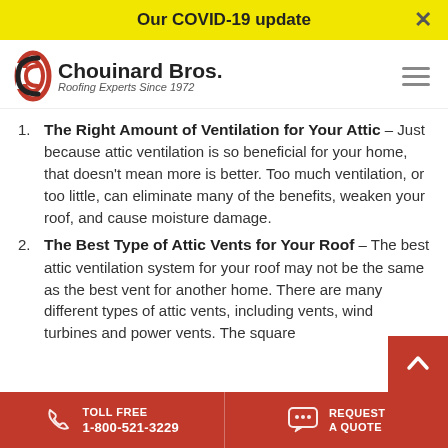Our COVID-19 update
[Figure (logo): Chouinard Bros. Roofing Experts Since 1972 logo]
The Right Amount of Ventilation for Your Attic – Just because attic ventilation is so beneficial for your home, that doesn't mean more is better. Too much ventilation, or too little, can eliminate many of the benefits, weaken your roof, and cause moisture damage.
The Best Type of Attic Vents for Your Roof – The best attic ventilation system for your roof may not be the same as the best vent for another home. There are many different types of attic vents, including vents, wind turbines and power vents. The square
TOLL FREE 1-800-521-3229 | REQUEST A QUOTE